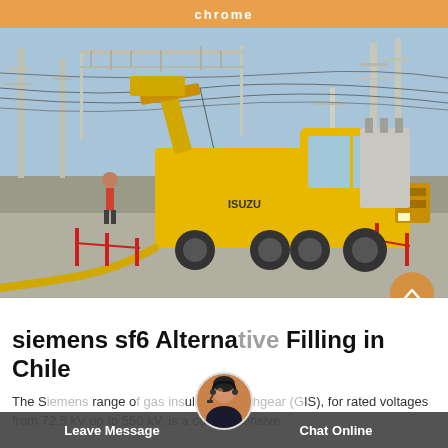chrome
[Figure (photo): Yellow ISUZU service/utility truck at an electrical substation with high-voltage power lines and towers. Workers and equipment visible. Red barriers on ground.]
siemens sf6 Alternative Filling in Chile
The S[iemens] range of [gas ins]ulated sw[itchgear (G]IS), for rated voltages from 72.5 kV up to 550 kV, is a comprehensive